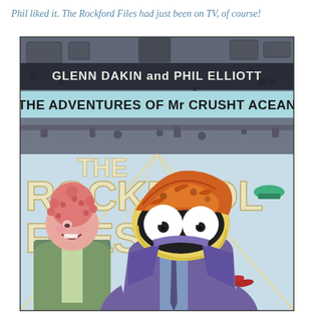Phil liked it. The Rockford Files had just been on TV, of course!
[Figure (illustration): Book cover for 'The Adventures of Mr Crusht Acean: The Rockpool Files' by Glenn Dakin and Phil Elliott. Features a cartoon illustration of two characters: a pink-haired human with a spiky afro and a crab-faced anthropomorphic character in a purple suit. The background shows a mechanical/industrial ceiling setting in muted purples and greens with diagonal yellow lines.]